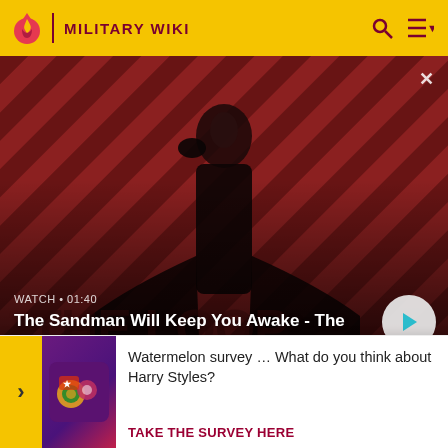MILITARY WIKI
[Figure (photo): Video thumbnail showing a dark-robed figure with a raven on their shoulder against a red and dark diagonal striped background. Title text 'THE LOOP' visible in background.]
WATCH • 01:40
The Sandman Will Keep You Awake - The Loop
(Essen, 2004) (Düsseldorfer Schriften zur Neueren Landesgeschichte und zur Geschichte Nordrhein-
G
R
Watermelon survey … What do you think about Harry Styles?
TAKE THE SURVEY HERE